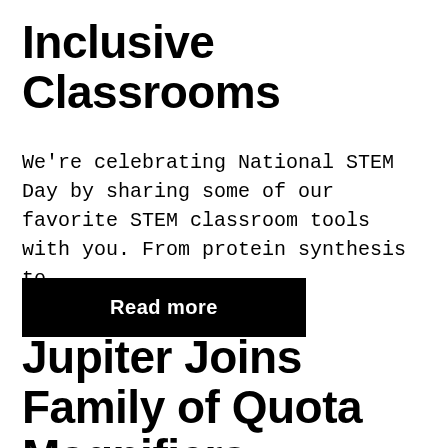Inclusive Classrooms
We're celebrating National STEM Day by sharing some of our favorite STEM classroom tools with you. From protein synthesis to...
Read more
Jupiter Joins Family of Quota Magnifiers